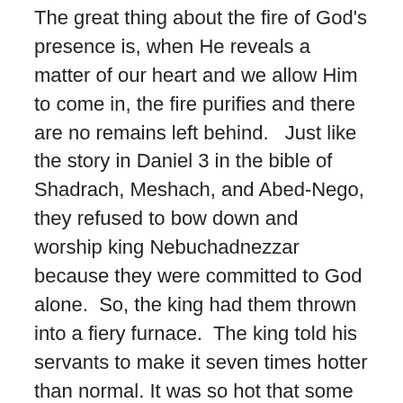The great thing about the fire of God's presence is, when He reveals a matter of our heart and we allow Him to come in, the fire purifies and there are no remains left behind.   Just like the story in Daniel 3 in the bible of Shadrach, Meshach, and Abed-Nego, they refused to bow down and worship king Nebuchadnezzar because they were committed to God alone.  So, the king had them thrown into a fiery furnace.  The king told his servants to make it seven times hotter than normal. It was so hot that some of the servants died by the fire as they threw Shadrach, Meshach, and Abed-Nego into the furnace.  But as the three men of God stood in the fire, an angel of the Lord was with them to protect them.  The king saw this and called them out of the fire.  When Shadrach, Meshach, and Abed-Nego came out of the fire, not one hair on their head or piece of clothing was singed. They did not even